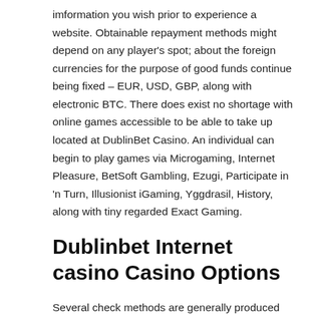imformation you wish prior to experience a website. Obtainable repayment methods might depend on any player's spot; about the foreign currencies for the purpose of good funds continue being fixed – EUR, USD, GBP, along with electronic BTC. There does exist no shortage with online games accessible to be able to take up located at DublinBet Casino. An individual can begin to play games via Microgaming, Internet Pleasure, BetSoft Gambling, Ezugi, Participate in 'n Turn, Illusionist iGaming, Yggdrasil, History, along with tiny regarded Exact Gaming.
Dublinbet Internet casino Casino Options
Several check methods are generally produced for easy flahbacks and even deposit, for twenty-one subject material ? _ design really worth Brazil's goals on guarding city